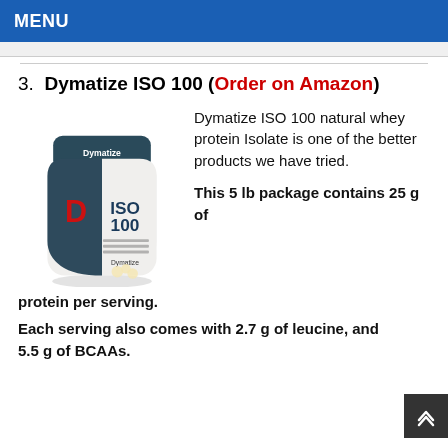MENU
3.  Dymatize ISO 100 (Order on Amazon)
[Figure (photo): Dymatize ISO 100 protein powder container, white and dark teal with red Dymatize logo]
Dymatize ISO 100 natural whey protein Isolate is one of the better products we have tried.
This 5 lb package contains 25 g of protein per serving.
Each serving also comes with 2.7 g of leucine, and 5.5 g of BCAAs.